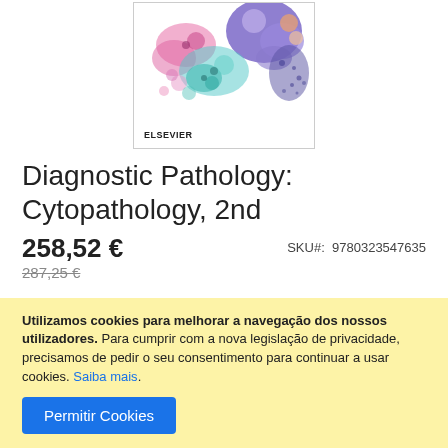[Figure (illustration): Book cover of Diagnostic Pathology: Cytopathology 2nd edition published by Elsevier, showing microscopy cell illustrations in pink, teal, purple, and orange colors, with ELSEVIER text at bottom left.]
Diagnostic Pathology: Cytopathology, 2nd
258,52 €
287,25 €
SKU#: 9780323547635
Utilizamos cookies para melhorar a navegação dos nossos utilizadores. Para cumprir com a nova legislação de privacidade, precisamos de pedir o seu consentimento para continuar a usar cookies. Saiba mais.
Permitir Cookies